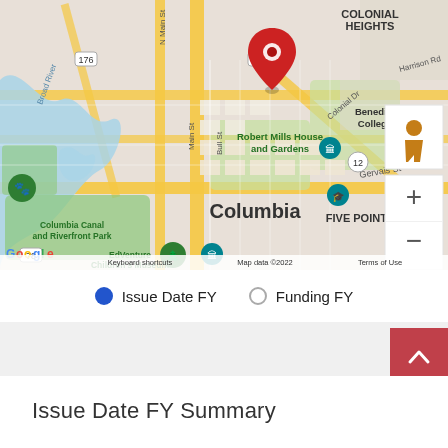[Figure (map): Google Maps view centered on Columbia, SC near Colonial Heights. Shows Robert Mills House and Gardens, Benedict College, Columbia Canal and Riverfront Park, EdVenture Children's Museum, Five Points area. Red location pin marker at top center. Map controls (zoom +/-) and pegman icon on right. Bottom bar shows Google logo, Keyboard shortcuts, Map data ©2022, Terms of Use.]
Issue Date FY    Funding FY
Issue Date FY Summary